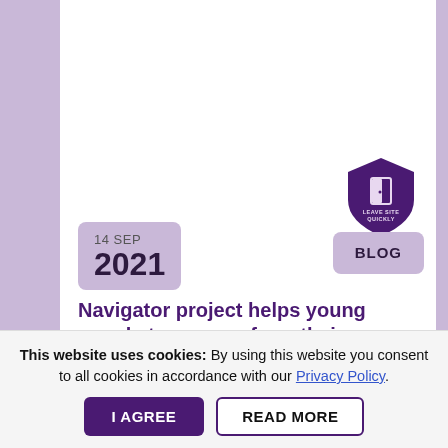[Figure (logo): Purple shield badge with door icon and text LEAVE SITE QUICKLY]
14 SEP 2021
BLOG
Navigator project helps young people to recover from their experience of violence and prevent the potential of
This website uses cookies: By using this website you consent to all cookies in accordance with our Privacy Policy.
I AGREE
READ MORE